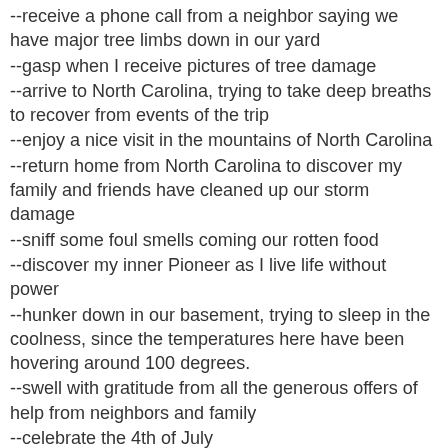--receive a phone call from a neighbor saying we have major tree limbs down in our yard
--gasp when I receive pictures of tree damage
--arrive to North Carolina, trying to take deep breaths to recover from events of the trip
--enjoy a nice visit in the mountains of North Carolina
--return home from North Carolina to discover my family and friends have cleaned up our storm damage
--sniff some foul smells coming our rotten food
--discover my inner Pioneer as I live life without power
--hunker down in our basement, trying to sleep in the coolness, since the temperatures here have been hovering around 100 degrees.
--swell with gratitude from all the generous offers of help from neighbors and family
--celebrate the 4th of July
--rejoice greatly when our power returns on the 5th of July
--resist feeling grumpy about our phone, internet and cable not returning
--pray for those who still do not have power from the storm, now 8 days ago
--smile when I win "Runner Up" in the Market District Burger